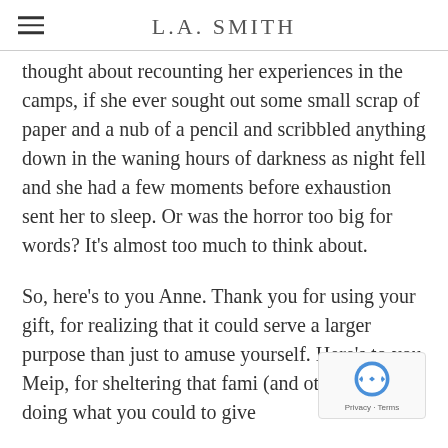L.A. SMITH
thought about recounting her experiences in the camps, if she ever sought out some small scrap of paper and a nub of a pencil and scribbled anything down in the waning hours of darkness as night fell and she had a few moments before exhaustion sent her to sleep. Or was the horror too big for words? It's almost too much to think about.
So, here's to you Anne. Thank you for using your gift, for realizing that it could serve a larger purpose than just to amuse yourself. Here's to you Meip, for sheltering that fami (and others) and doing what you could to give